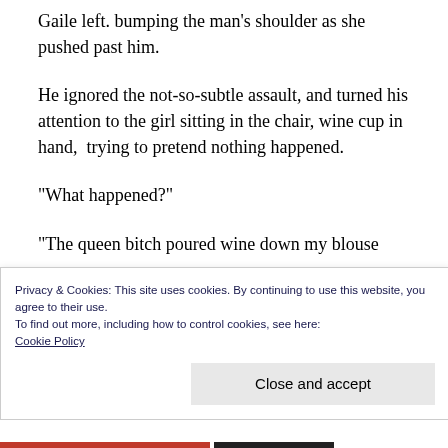Gaile left. bumping the man’s shoulder as she pushed past him.
He ignored the not-so-subtle assault, and turned his attention to the girl sitting in the chair, wine cup in hand,  trying to pretend nothing happened.
“What happened?”
“The queen bitch poured wine down my blouse
Privacy & Cookies: This site uses cookies. By continuing to use this website, you agree to their use.
To find out more, including how to control cookies, see here:
Cookie Policy
Close and accept